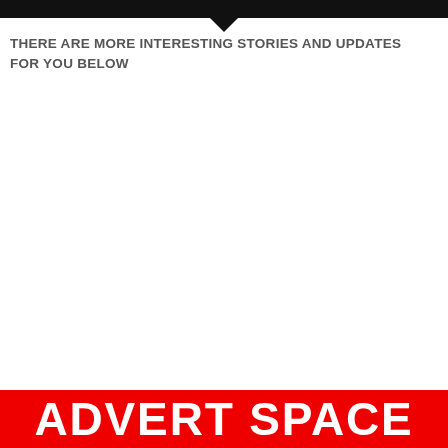[Figure (other): Black horizontal bar at top with a downward-pointing triangle arrow below it]
THERE ARE MORE INTERESTING STORIES AND UPDATES FOR YOU BELOW
[Figure (other): Red banner at bottom with large white bold text reading ADVERT SPACE]